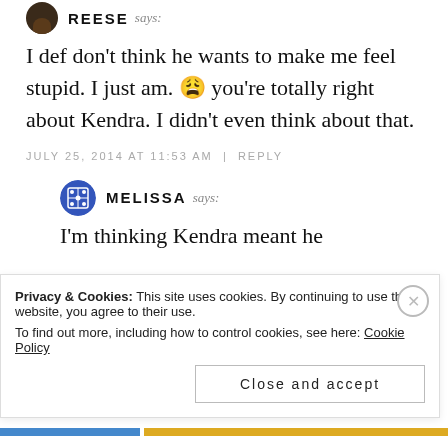REESE says:
I def don't think he wants to make me feel stupid. I just am. 😩 you're totally right about Kendra. I didn't even think about that.
JULY 25, 2014 AT 11:53 AM | REPLY
MELISSA says:
I'm thinking Kendra meant he
Privacy & Cookies: This site uses cookies. By continuing to use this website, you agree to their use.
To find out more, including how to control cookies, see here: Cookie Policy
Close and accept